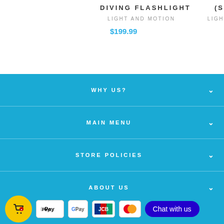DIVING FLASHLIGHT
LIGHT AND MOTION
$199.99
(S...
LIGH...
WHY US?
MAIN MENU
STORE POLICIES
ABOUT US
NEWSLETTER
[Figure (other): Payment method icons: Apple Pay, Google Pay, JCB, Mastercard, and a chat button]
Chat with us